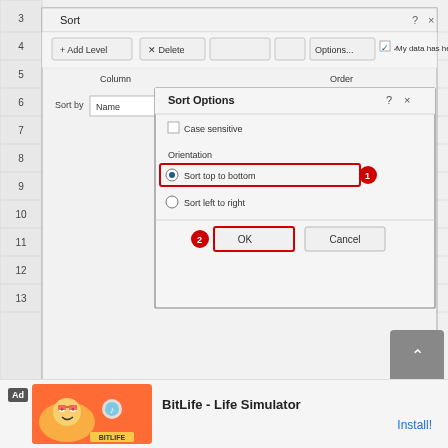[Figure (screenshot): Screenshot of Microsoft Excel Sort dialog box with Sort Options subdialog open. Sort Options dialog shows: 'Case sensitive' checkbox (unchecked), Orientation section with 'Sort top to bottom' radio button selected (highlighted with red border, labeled with red circle 1), and 'Sort left to right' radio below. OK button highlighted with red border (labeled with red circle 2) and Cancel button. Background Sort dialog shows Column, Order (Z to A), Sort by Name, with My data has headers checkbox checked.]
[Figure (screenshot): Ad banner at bottom: BitLife - Life Simulator app advertisement with Install button.]